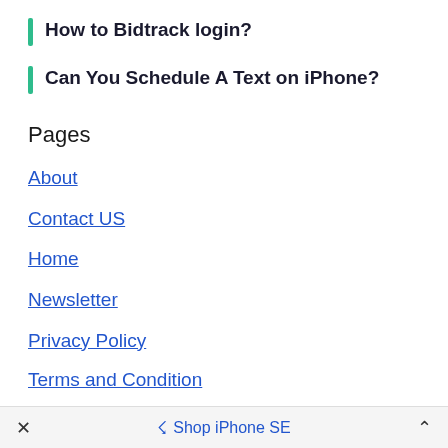How to Bidtrack login?
Can You Schedule A Text on iPhone?
Pages
About
Contact US
Home
Newsletter
Privacy Policy
Terms and Condition
× Shop iPhone SE ^